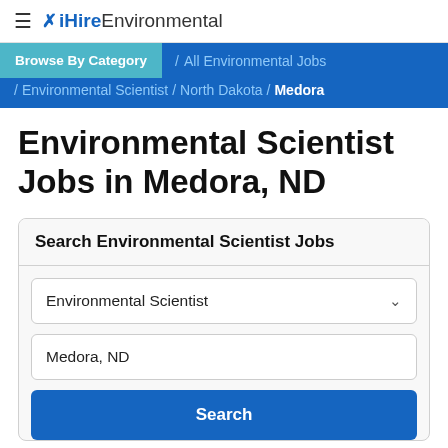≡ ✗ iHireEnvironmental
Browse By Category / All Environmental Jobs / Environmental Scientist / North Dakota / Medora
Environmental Scientist Jobs in Medora, ND
Search Environmental Scientist Jobs
Environmental Scientist
Medora, ND
Search